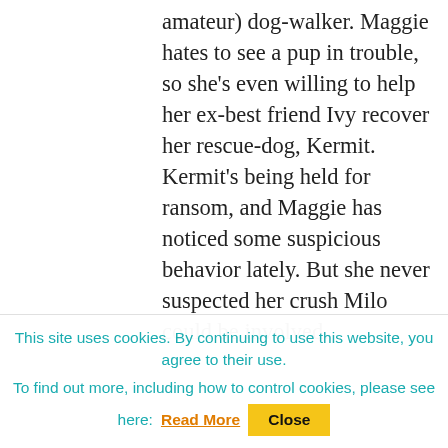amateur) dog-walker. Maggie hates to see a pup in trouble, so she's even willing to help her ex-best friend Ivy recover her rescue-dog, Kermit. Kermit's being held for ransom, and Maggie has noticed some suspicious behavior lately. But she never suspected her crush Milo could be involved.
Boy's Best Friend by Kate Banks and Rupert Sheldrake (2015)
[Figure (photo): Close-up photo of a black and white dog face, looking directly at the camera]
Eleven-year-old George
This site uses cookies. By continuing to use this website, you agree to their use. To find out more, including how to control cookies, please see here: Read More